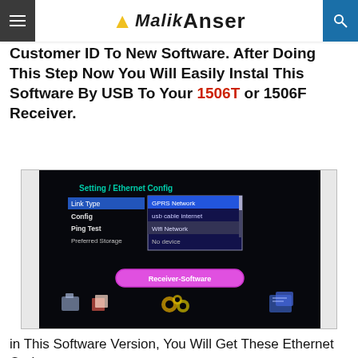Malik Anser (logo header with menu and search)
Customer ID To New Software. After Doing This Step Now You Will Easily Instal This Software By USB To Your 1506T or 1506F Receiver.
[Figure (screenshot): TV receiver screen showing Setting / Ethernet Config menu with Link Type selected (GPRS Network, usb cable internet, Wifi Network, No device options) and a Receiver-Software button at bottom center]
in This Software Version, You Will Get These Ethernet Options.